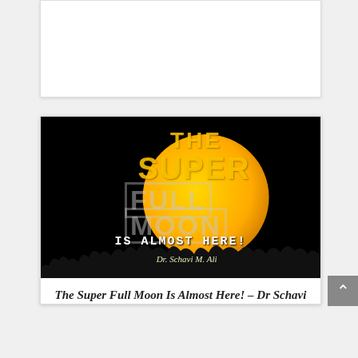[Figure (photo): Partially visible white card at the top of the page]
[Figure (photo): Photograph of a large golden full moon against a black night sky with tree silhouettes, overlaid with text: THE SUPER FULL MOON IS ALMOST HERE! and author name Dr. Schavi M. Ali]
The Super Full Moon Is Almost Here! – Dr Schavi